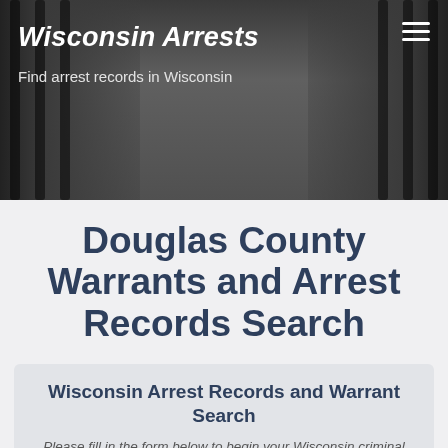[Figure (photo): Hero banner image with person's hands gripping prison bars, black and white photo with dark overlay]
Wisconsin Arrests
Find arrest records in Wisconsin
Douglas County Warrants and Arrest Records Search
Wisconsin Arrest Records and Warrant Search
Please fill in the form below to begin your Wisconsin criminal records search